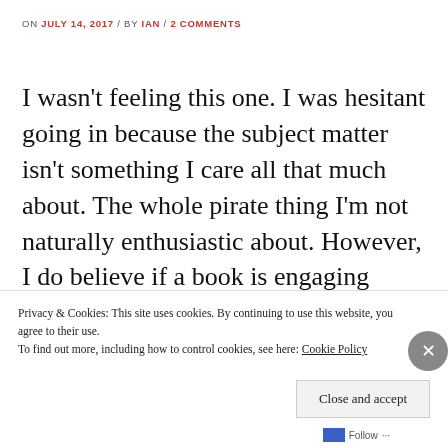ON JULY 14, 2017 / BY IAN / 2 COMMENTS
I wasn't feeling this one. I was hesitant going in because the subject matter isn't something I care all that much about. The whole pirate thing I'm not naturally enthusiastic about. However, I do believe if a book is engaging enough I'm usually able to connect with it in some way no matter the subject. …
CONTINUE READING →
Privacy & Cookies: This site uses cookies. By continuing to use this website, you agree to their use.
To find out more, including how to control cookies, see here: Cookie Policy
Close and accept